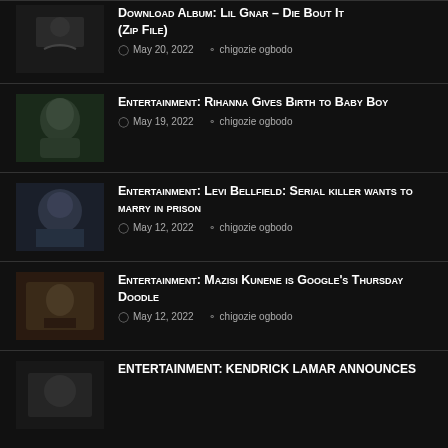DOWNLOAD ALBUM: Lil Gnar – DIE BOUT IT (ZIP FILE) | May 20, 2022 | chigozie ogbodo
Entertainment: Rihanna Gives Birth to Baby Boy | May 19, 2022 | chigozie ogbodo
Entertainment: Levi Bellfield: Serial killer wants to marry in prison | May 12, 2022 | chigozie ogbodo
Entertainment: Mazisi Kunene is Google's Thursday Doodle | May 12, 2022 | chigozie ogbodo
ENTERTAINMENT: Kendrick Lamar Announces…